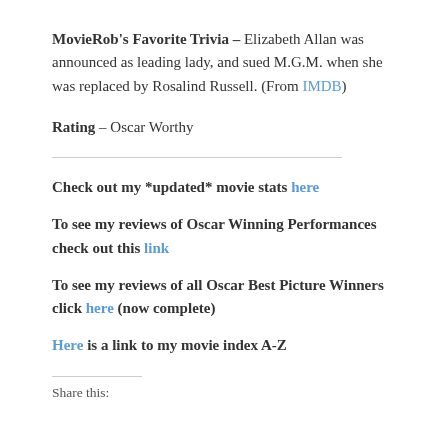MovieRob's Favorite Trivia – Elizabeth Allan was announced as leading lady, and sued M.G.M. when she was replaced by Rosalind Russell. (From IMDB)
Rating – Oscar Worthy
Check out my *updated* movie stats here
To see my reviews of Oscar Winning Performances check out this link
To see my reviews of all Oscar Best Picture Winners click here (now complete)
Here is a link to my movie index A-Z
Share this: